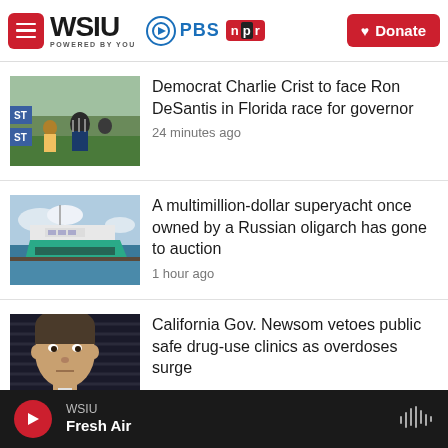WSIU POWERED BY YOU | PBS | npr | Donate
Democrat Charlie Crist to face Ron DeSantis in Florida race for governor — 24 minutes ago
A multimillion-dollar superyacht once owned by a Russian oligarch has gone to auction — 1 hour ago
California Gov. Newsom vetoes public safe drug-use clinics as overdoses surge
WSIU Fresh Air